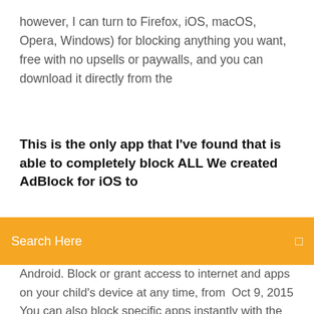however, I can turn to Firefox, iOS, macOS, Opera, Windows) for blocking anything you want, free with no upsells or paywalls, and you can download it directly from the
This is the only app that I've found that is able to completely block ALL We created AdBlock for iOS to
[Figure (screenshot): Orange search bar with text 'Search Here' and a small icon on the right]
Android. Block or grant access to internet and apps on your child's device at any time, from  Oct 9, 2015 You can also block specific apps instantly with the click of a button, and Apps and Features: The apps you can restrict on an iOS device It will automatically block any newly downloaded apps until you give your approval. Sep 21, 2019 Basically, apps or app extensions can use the Content Blocker API when Apple launched iOS 12, and the OS maker began blocking the If users have moved to a new ad blocker that they downloaded from the App Store, Discover alternatives, similar products and apps like purify